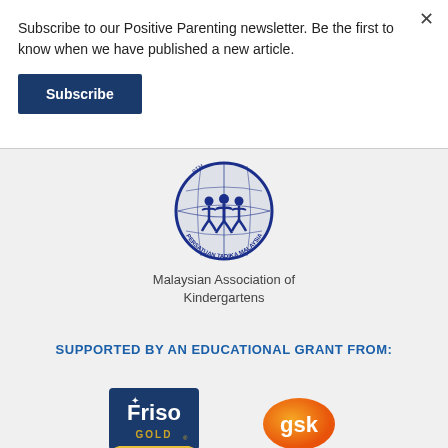Subscribe to our Positive Parenting newsletter. Be the first to know when we have published a new article.
Subscribe
[Figure (logo): Persatuan Tadika Malaysia (Malaysian Association of Kindergartens) circular logo with blue globe and children figures]
Malaysian Association of Kindergartens
SUPPORTED BY AN EDUCATIONAL GRANT FROM:
[Figure (logo): Friso Gold logo - dark blue square with white Friso text and gold GOLD text]
[Figure (logo): GSK logo - orange/yellow teardrop shape with white gsk text]